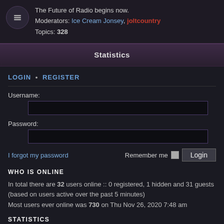The Future of Radio begins now.
Moderators: Ice Cream Jonsey, joltcountry
Topics: 328
Statistics
LOGIN • REGISTER
Username:
Password:
I forgot my password   Remember me   Login
WHO IS ONLINE
In total there are 32 users online :: 0 registered, 1 hidden and 31 guests (based on users active over the past 5 minutes)
Most users ever online was 730 on Thu Nov 26, 2020 7:48 am
STATISTICS
Total posts 126488 • Total topics 10840 • Total members 278 • Our newest member imagecard